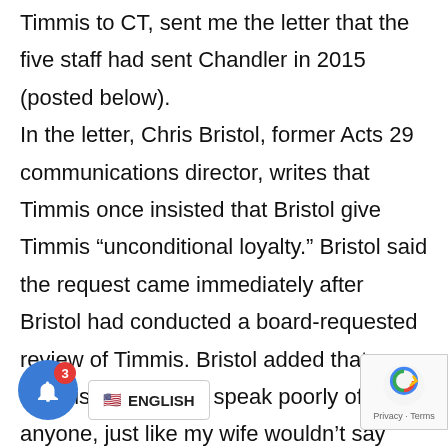Timmis to CT, sent me the letter that the five staff had sent Chandler in 2015 (posted below).
In the letter, Chris Bristol, former Acts 29 communications director, writes that Timmis once insisted that Bristol give Timmis “unconditional loyalty.” Bristol said the request came immediately after Bristol had conducted a board-requested review of Timmis. Bristol added that Timmis said, “Don’t speak poorly of me to anyone, just like my wife wouldn’t say anything about me to anyone.”